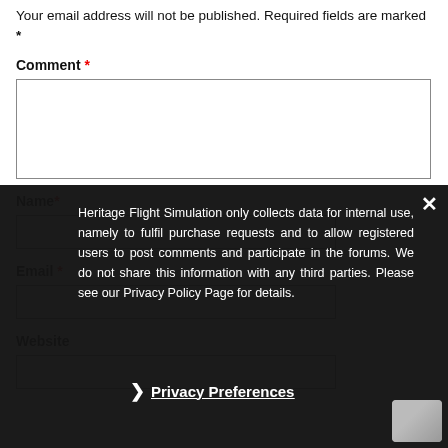Your email address will not be published. Required fields are marked *
Comment *
[Figure (screenshot): Comment text area input field (empty, white background, bordered)]
Name *
[Figure (screenshot): Name input field (empty, white background, bordered)]
Email *
[Figure (screenshot): Email input field (empty, white background, bordered)]
Website
[Figure (screenshot): Website input field (empty, white background, bordered)]
Heritage Flight Simulation only collects data for internal use, namely to fulfil purchase requests and to allow registered users to post comments and participate in the forums. We do not share this information with any third parties. Please see our Privacy Policy Page for details.
❯ Privacy Preferences
I Agree